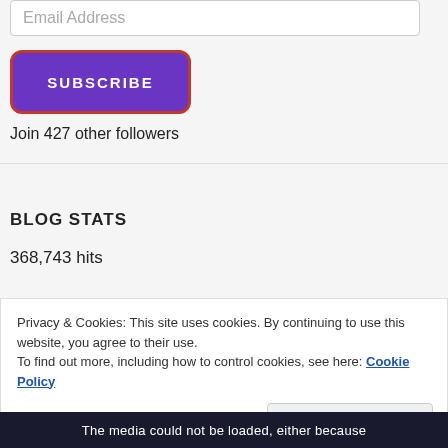Email Address
SUBSCRIBE
Join 427 other followers
BLOG STATS
368,743 hits
Privacy & Cookies: This site uses cookies. By continuing to use this website, you agree to their use.
To find out more, including how to control cookies, see here: Cookie Policy
Close and accept
The media could not be loaded, either because the server or file failed...